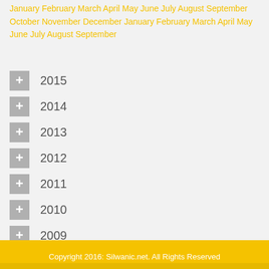January February March April May June July August September October November December January February March April May June July August September
2015
2014
2013
2012
2011
2010
2009
Copyright 2016: Silwanic.net. All Rights Reserved